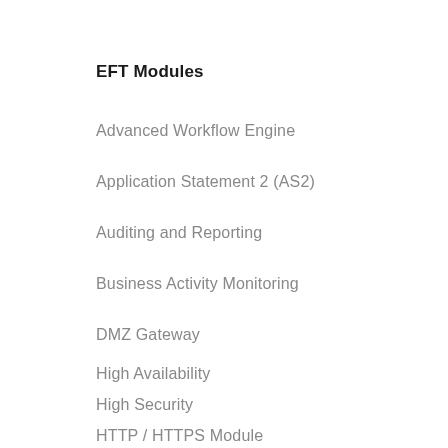EFT Modules
Advanced Workflow Engine
Application Statement 2 (AS2)
Auditing and Reporting
Business Activity Monitoring
DMZ Gateway
High Availability
High Security
HTTP / HTTPS Module
Mobile Transfer Client